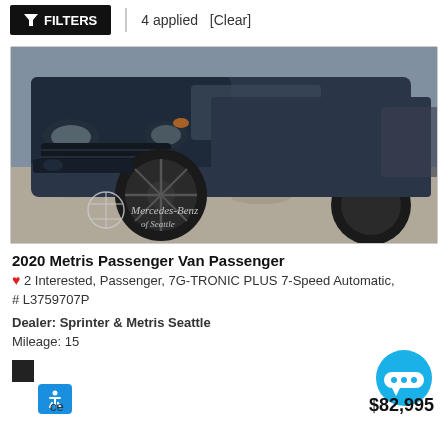FILTERS | 4 applied [Clear]
[Figure (photo): Front view of a dark navy/matte black 2020 Mercedes-Benz Metris Passenger Van on a gravel surface. Mercedes-Benz of Seattle watermark visible in lower left of photo.]
2020 Metris Passenger Van Passenger
♥ 2 Interested, Passenger, 7G-TRONIC PLUS 7-Speed Automatic, # L3759707P
Dealer: Sprinter & Metris Seattle
Mileage: 15
$82,995